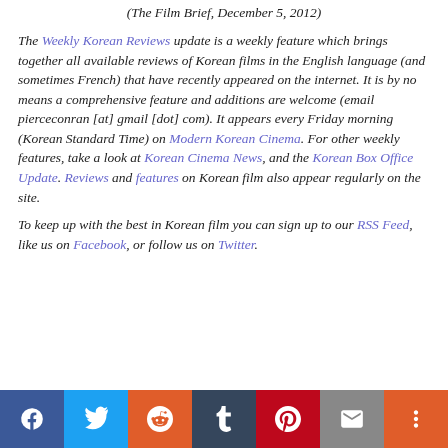(The Film Brief, December 5, 2012)
The Weekly Korean Reviews update is a weekly feature which brings together all available reviews of Korean films in the English language (and sometimes French) that have recently appeared on the internet. It is by no means a comprehensive feature and additions are welcome (email pierceconran [at] gmail [dot] com). It appears every Friday morning (Korean Standard Time) on Modern Korean Cinema. For other weekly features, take a look at Korean Cinema News, and the Korean Box Office Update. Reviews and features on Korean film also appear regularly on the site.
To keep up with the best in Korean film you can sign up to our RSS Feed, like us on Facebook, or follow us on Twitter.